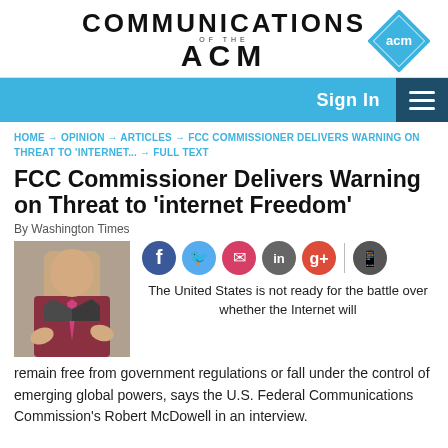COMMUNICATIONS OF THE ACM
[Figure (logo): ACM diamond logo with teal border and 'acm' text inside]
[Figure (screenshot): Navigation bar with 'Sign In' button and hamburger menu on blue background]
HOME → OPINION → ARTICLES → FCC COMMISSIONER DELIVERS WARNING ON THREAT TO 'INTERNET... → FULL TEXT
FCC Commissioner Delivers Warning on Threat to 'internet Freedom'
By Washington Times
[Figure (photo): Photo of a man in suit gesturing while speaking]
[Figure (infographic): Social sharing icons: Facebook, Twitter, Email, LinkedIn, Google+, mobile]
The United States is not ready for the battle over whether the Internet will remain free from government regulations or fall under the control of emerging global powers, says the U.S. Federal Communications Commission's Robert McDowell in an interview.